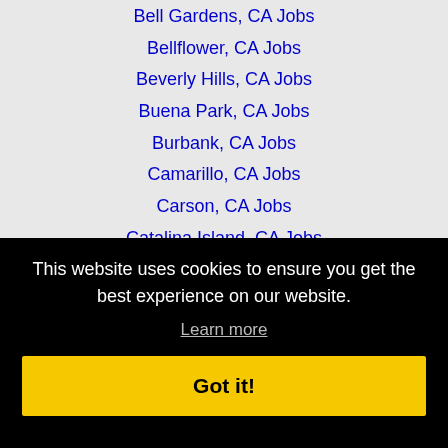Bell Gardens, CA Jobs
Bellflower, CA Jobs
Beverly Hills, CA Jobs
Buena Park, CA Jobs
Burbank, CA Jobs
Camarillo, CA Jobs
Carson, CA Jobs
Catalina Island, CA Jobs
Cerritos, CA Jobs
This website uses cookies to ensure you get the best experience on our website.
Learn more
Got it!
Downey, CA Jobs